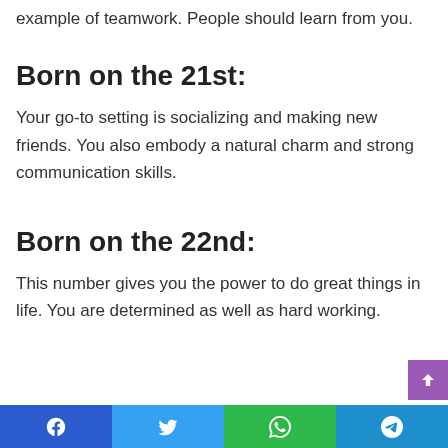example of teamwork. People should learn from you.
Born on the 21st:
Your go-to setting is socializing and making new friends. You also embody a natural charm and strong communication skills.
Born on the 22nd:
This number gives you the power to do great things in life. You are determined as well as hard working.
Facebook Twitter WhatsApp Telegram